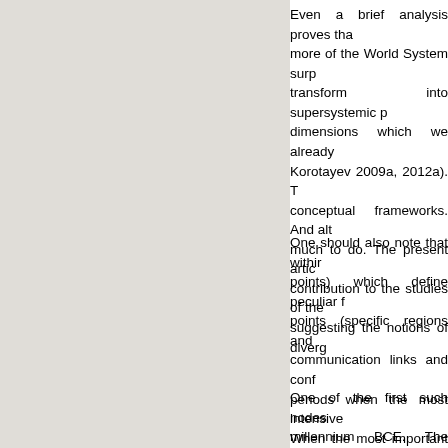Even a brief analysis proves that more of the World System surp transform into supersystemic p dimensions which we already Korotayev 2009a, 2012a). T conceptual frameworks. And alth much to do. The present artic contribution to the studies of the suggesting the notions of diverg
One should also note that withir points) which define peculiar f points (specific regions and communication links and conf periods when the most intensive When the most important ter emergence of historical sp transformations, patterns of ch different regions and environme nodes in the world history. If on they can show the mainstream p
One of the first such nodes millennium BCE. The urbanizati processes which gave birth to ci in the present sense of the word it also promoted the struggle for